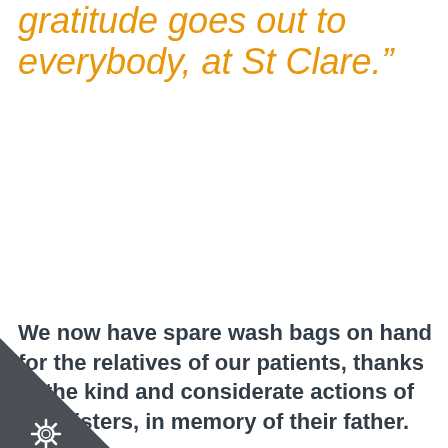gratitude goes out to everybody at St Clare.”
We now have spare wash bags on hand for the relatives of our patients, thanks to the kind and considerate actions of two sisters, in memory of their father.
[Figure (illustration): Dark grey triangle corner decoration with a gear/cog icon in white]